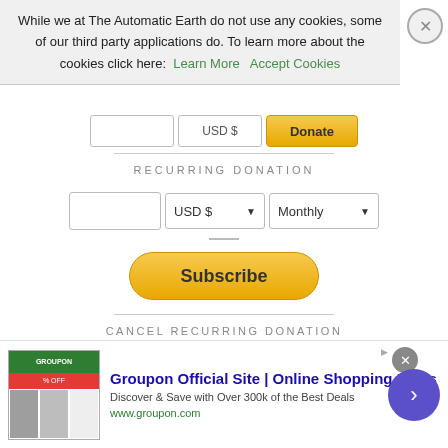While we at The Automatic Earth do not use any cookies, some of our third party applications do. To learn more about the cookies click here: Learn More  Accept Cookies
[Figure (screenshot): Donation form with recurring donation section showing input fields for amount, currency (USD $), frequency (Monthly) dropdowns, and a Subscribe button]
RECURRING DONATION
CANCEL RECURRING DONATION
CLICK HERE TO DONATE BY CHECK OR MONEY ORDER
[Figure (screenshot): Search bar with rounded rectangle input field and magnifying glass icon]
[Figure (screenshot): Groupon advertisement banner: Groupon Official Site | Online Shopping Deals. Discover & Save with Over 300k of the Best Deals. www.groupon.com]